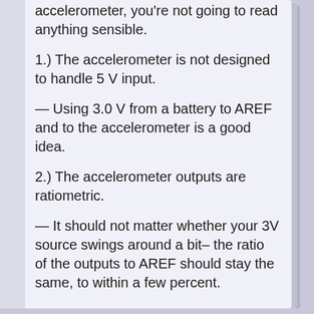accelerometer, you're not going to read anything sensible.
1.) The accelerometer is not designed to handle 5 V input.
— Using 3.0 V from a battery to AREF and to the accelerometer is a good idea.
2.) The accelerometer outputs are ratiometric.
— It should not matter whether your 3V source swings around a bit– the ratio of the outputs to AREF should stay the same, to within a few percent.